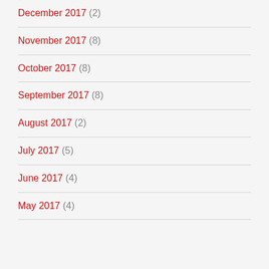December 2017 (2)
November 2017 (8)
October 2017 (8)
September 2017 (8)
August 2017 (2)
July 2017 (5)
June 2017 (4)
May 2017 (4)